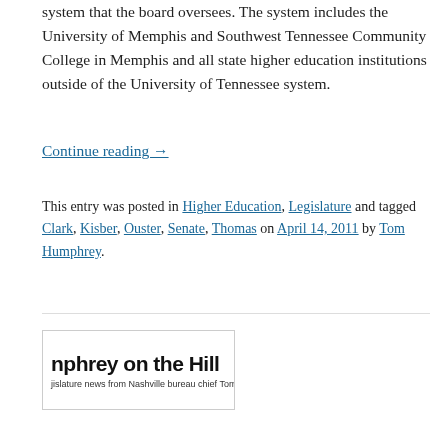system that the board oversees. The system includes the University of Memphis and Southwest Tennessee Community College in Memphis and all state higher education institutions outside of the University of Tennessee system.
Continue reading →
This entry was posted in Higher Education, Legislature and tagged Clark, Kisber, Ouster, Senate, Thomas on April 14, 2011 by Tom Humphrey.
[Figure (logo): Partially visible logo reading 'nphrey on the Hill' with subtitle 'jislature news from Nashville bureau chief Tom H']